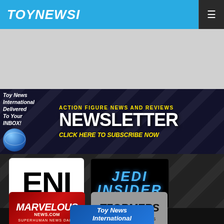TOYNEWSI
[Figure (screenshot): Gray placeholder/ad area below navigation header]
[Figure (infographic): Toy News International Newsletter banner: 'ACTION FIGURE NEWS AND REVIEWS NEWSLETTER CLICK HERE TO SUBSCRIBE NOW' with globe graphic on dark blue background]
[Figure (logo): ENI logo - white box with large black bold text 'ENI']
[Figure (logo): Jedi Insider logo - black box with blue italic text 'JEDI INSIDER']
[Figure (logo): Marvelous News.com logo - red background with white italic text 'MARVELOUS NEWS.COM SUPERHUMAN NEWS DAILY']
[Figure (logo): TFormers logo - gray box with black text 'TFORMERS All Things Transformers']
[Figure (logo): Toy News International logo - blue background with white italic text 'Toy News International']